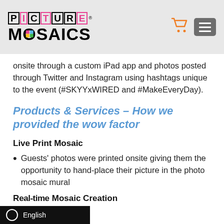Picture Mosaics
onsite through a custom iPad app and photos posted through Twitter and Instagram using hashtags unique to the event (#SKYYxWIRED and #MakeEveryDay).
Products & Services – How we provided the wow factor
Live Print Mosaic
Guests' photos were printed onsite giving them the opportunity to hand-place their picture in the photo mosaic mural
Real-time Mosaic Creation